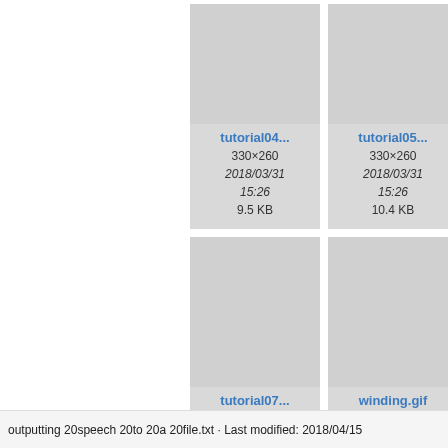[Figure (screenshot): File browser grid showing thumbnail cards for tutorial04, tutorial05, tutorial06 (partial), tutorial07, and winding.gif files with metadata]
tutorial04...
330×260
2018/03/31
15:26
9.5 KB
tutorial05...
330×260
2018/03/31
15:26
10.4 KB
tu...
tutorial07...
330×260
2018/03/31
15:26
35.7 KB
winding.gif
100×90
2018/03/31
15:26
1.4 KB
outputting 20speech 20to 20a 20file.txt · Last modified: 2018/04/15